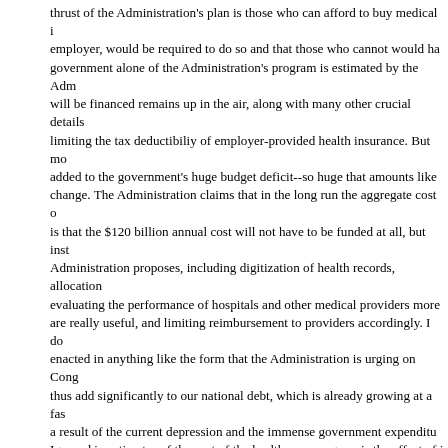thrust of the Administration's plan is those who can afford to buy medical i employer, would be required to do so and that those who cannot would ha government alone of the Administration's program is estimated by the Adm will be financed remains up in the air, along with many other crucial details limiting the tax deductibiliy of employer-provided health insurance. But mo added to the government's huge budget deficit--so huge that amounts like change. The Administration claims that in the long run the aggregate cost is that the $120 billion annual cost will not have to be funded at all, but inst Administration proposes, including digitization of health records, allocation evaluating the performance of hospitals and other medical providers more are really useful, and limiting reimbursement to providers accordingly. I do enacted in anything like the form that the Administration is urging on Con thus add significantly to our national debt, which is already growing at a fa a result of the current depression and the immense government expenditu Ignored in estimates of the cost of the health care program is the effect of When people, because they lack health insurance, have to pay for medica emergency rooms, they have an incentive to economize on medical treatm cost of treatment in excellent medical facilities falls to the cost of a deducti the insured consumer of medical services confronts--the cost of the health not affected by how much treatment the insured receives. Because the su increase in the demand for those services will increase average as well as universal health insurance could be financed by reducing or eliminating the modest reduction, if that, in its deductibility is politically feasible. The refor pay for the program but also reduce the aggregate costs of health care in t Digitization of medical records does increase efficiency: it makes it easier coordinate medical services. But the net savings are likely to be modest o average cost of a given quality of health care increases demand, just as b care--another efficiency measure touted by health-care reformers--is pote provides health services to people who are not yet ill. Advances in prevent exercise and eat healthful foods, but increasingly are dominated by massi